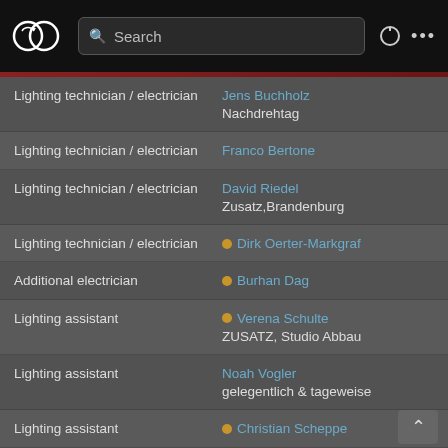Search
Lighting technician / electrician | Jens Buchholz | Nachdrehtag
Lighting technician / electrician | Franco Bertone
Lighting technician / electrician | David Riedel | Zusatz,Brandenburg
Lighting technician / electrician | Dirk Oerter-Markgraf
Additional electrician | Burhan Dag
Lighting assistant | Verena Schulte | ZUSATZ, Studio Abbau
Lighting assistant | Noah Vogler | gelegentlich & tageweise
Lighting assistant | Christian Scheppe
Makeup artist / hair stylist | Heike Merker | HOD
Makeup artist / hair stylist | Henny Zimmer
Composer | Marcel Barsotti